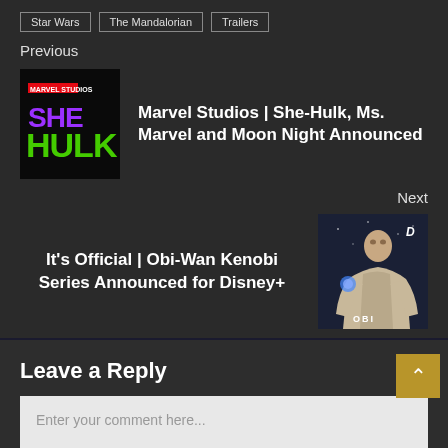Star Wars
The Mandalorian
Trailers
Previous
[Figure (photo): She-Hulk Marvel Studios logo/title card on dark background]
Marvel Studios | She-Hulk, Ms. Marvel and Moon Night Announced
Next
It's Official | Obi-Wan Kenobi Series Announced for Disney+
[Figure (photo): Obi-Wan Kenobi character in Jedi robes from Disney+ series announcement]
Leave a Reply
Enter your comment here...